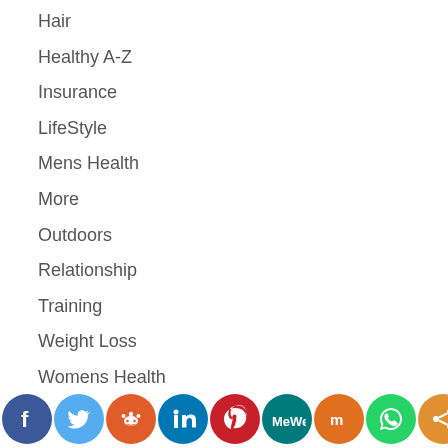Hair
Healthy A-Z
Insurance
LifeStyle
Mens Health
More
Outdoors
Relationship
Training
Weight Loss
Womens Health
[Figure (infographic): Social media share buttons: Facebook, Twitter, Reddit, LinkedIn, Pinterest, MeWe, Mix, WhatsApp, Share]